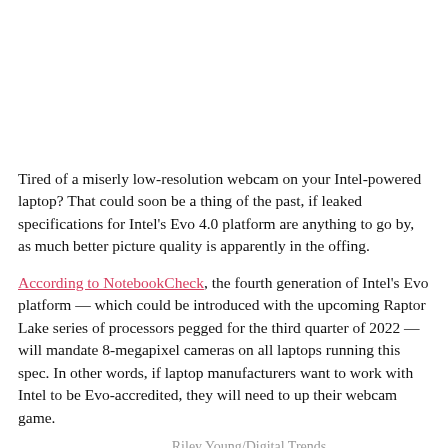[Figure (photo): Blank white image area at the top of the page representing an image placeholder]
Tired of a miserly low-resolution webcam on your Intel-powered laptop? That could soon be a thing of the past, if leaked specifications for Intel's Evo 4.0 platform are anything to go by, as much better picture quality is apparently in the offing.
According to NotebookCheck, the fourth generation of Intel's Evo platform — which could be introduced with the upcoming Raptor Lake series of processors pegged for the third quarter of 2022 — will mandate 8-megapixel cameras on all laptops running this spec. In other words, if laptop manufacturers want to work with Intel to be Evo-accredited, they will need to up their webcam game.
Riley Young/Digital Trends